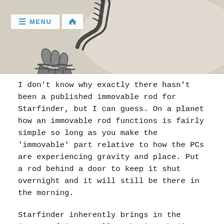[Figure (illustration): Pencil sketch of an armored/mechanical hand or claw holding a rod or twisted object, with a navigation menu bar overlay in the upper left showing a hamburger menu icon and the text MENU and a home icon.]
I don't know why exactly there hasn't been a published immovable rod for Starfinder, but I can guess. On a planet how an immovable rod functions is fairly simple so long as you make the 'immovable' part relative to how the PCs are experiencing gravity and place. Put a rod behind a door to keep it shut overnight and it will still be there in the morning.
Starfinder inherently brings in the issues of interstellar physics, bodies in motion, and inertia into the mix. If you are in a spaceship traveling even a short distance, and set an immovable rod somewhere to keep an object in place, does that rod